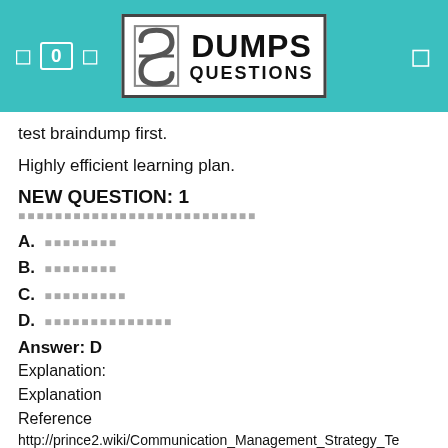DumpsQuestions logo header
test braindump first.
Highly efficient learning plan.
NEW QUESTION: 1
[question text in non-Latin script]
A. [option A in non-Latin script]
B. [option B in non-Latin script]
C. [option C in non-Latin script]
D. [option D in non-Latin script]
Answer: D
Explanation:
Explanation
Reference
http://prince2.wiki/Communication_Management_Strategy_Te